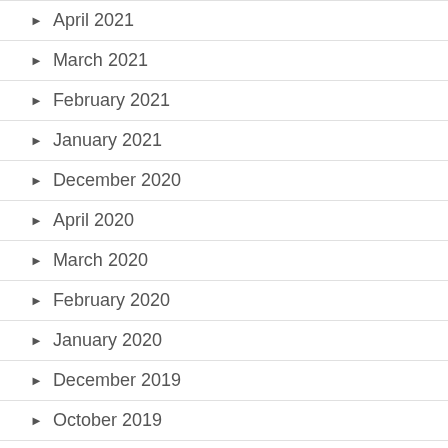April 2021
March 2021
February 2021
January 2021
December 2020
April 2020
March 2020
February 2020
January 2020
December 2019
October 2019
August 2019
April 2019
March 2019